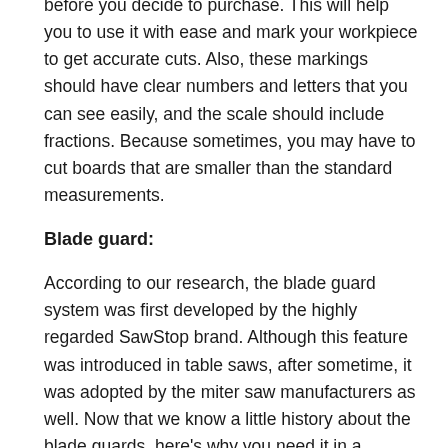before you decide to purchase. This will help you to use it with ease and mark your workpiece to get accurate cuts. Also, these markings should have clear numbers and letters that you can see easily, and the scale should include fractions. Because sometimes, you may have to cut boards that are smaller than the standard measurements.
Blade guard:
According to our research, the blade guard system was first developed by the highly regarded SawStop brand. Although this feature was introduced in table saws, after sometime, it was adopted by the miter saw manufacturers as well. Now that we know a little history about the blade guards, here's why you need it in a machine such as this. A good blade guard will protect you from miter saw related accidents. As the blade spins, it should protect you from getting in contact with the saw blade. For that, it should sit to the side of the